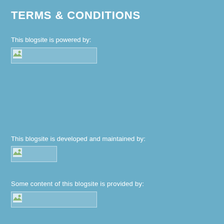TERMS & CONDITIONS
This blogsite is powered by:
[Figure (other): Placeholder image for powered-by logo (broken image icon, wide)]
This blogsite is developed and maintained by:
[Figure (other): Placeholder image for developer logo (broken image icon, small)]
Some content of this blogsite is provided by:
[Figure (other): Placeholder image for content provider logo (broken image icon, wide)]